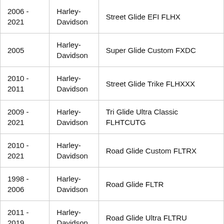| Year | Make | Model |
| --- | --- | --- |
| 2006 - 2021 | Harley-Davidson | Street Glide EFI FLHX |
| 2005 | Harley-Davidson | Super Glide Custom FXDC |
| 2010 - 2011 | Harley-Davidson | Street Glide Trike FLHXXX |
| 2009 - 2021 | Harley-Davidson | Tri Glide Ultra Classic FLHTCUTG |
| 2010 - 2021 | Harley-Davidson | Road Glide Custom FLTRX |
| 1998 - 2006 | Harley-Davidson | Road Glide FLTR |
| 2011 - 2019 | Harley-Davidson | Road Glide Ultra FLTRU |